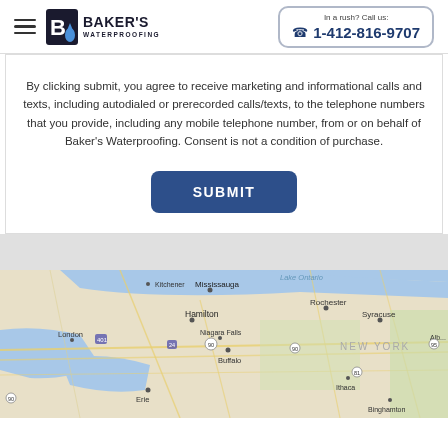Baker's Waterproofing | In a rush? Call us: 1-412-816-9707
By clicking submit, you agree to receive marketing and informational calls and texts, including autodialed or prerecorded calls/texts, to the telephone numbers that you provide, including any mobile telephone number, from or on behalf of Baker's Waterproofing. Consent is not a condition of purchase.
[Figure (map): Google Maps view showing Lake Ontario region including Mississauga, Hamilton, Niagara Falls, Buffalo, Rochester, Syracuse, London, Erie, Ithaca, Binghamton, and NEW YORK label. Road and geographic features visible.]